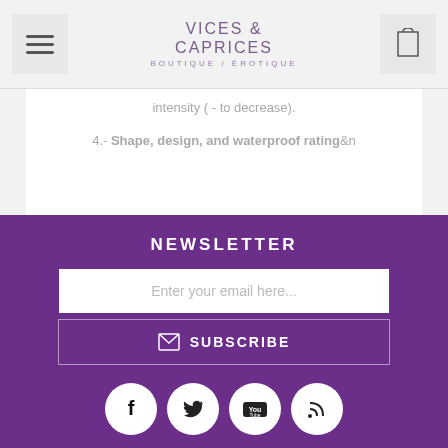VICES & CAPRICES
intensity ( - to decrease).
4.- Shape, design, and waterproof rating&n
NEWSLETTER
Enter your email here...
SUBSCRIBE
[Figure (other): Social media icons: Facebook, Twitter, YouTube, RSS feed]